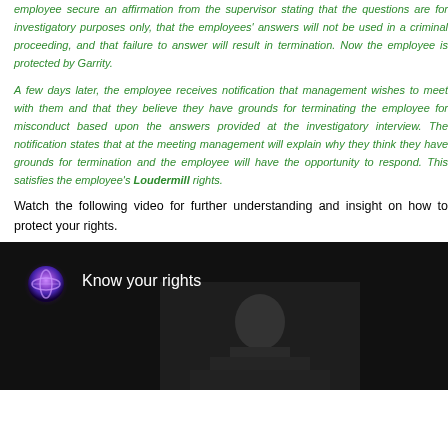employee secure an affirmation from the supervisor stating that the questions are for investigatory purposes only, that the employees' answers will not be used in a criminal proceeding, and that failure to answer will result in termination. Now the employee is protected by Garrity.
A few days later, the employee receives notification that management wishes to meet with them and that they believe they have grounds for terminating the employee for misconduct based upon the answers provided at the investigatory interview. The notification states that at the meeting management will explain why they think they have grounds for termination and the employee will have the opportunity to respond. This satisfies the employee's Loudermill rights.
Watch the following video for further understanding and insight on how to protect your rights.
[Figure (screenshot): Video thumbnail with dark background showing a person and 'Know your rights' title with a glowing orb icon]